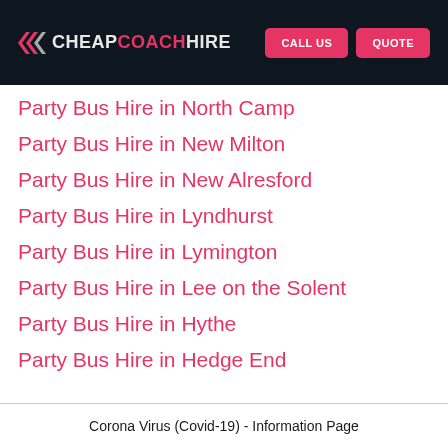CHEAP COACH HIRE | CALL US | QUOTE
Party Bus Hire in North Camp
Party Bus Hire in New Milton
Party Bus Hire in New Alresford
Party Bus Hire in Lyndhurst
Party Bus Hire in Lymington
Party Bus Hire in Lee on the Solent
Party Bus Hire in Hythe
Party Bus Hire in Hedge End
Corona Virus (Covid-19) - Information Page